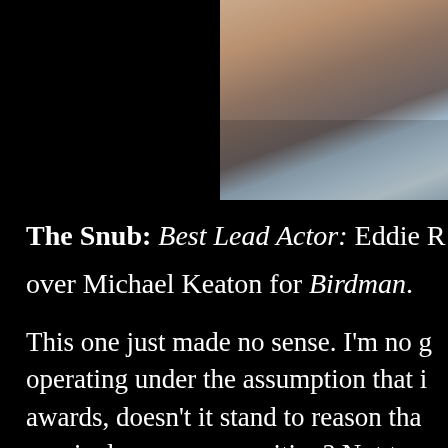[Figure (photo): Partial photograph showing a person near a window, with black area on the left side. Upper portion of page.]
The Snub: Best Lead Actor: Eddie R over Michael Keaton for Birdman.
This one just made no sense. I'm no g operating under the assumption that i awards, doesn't it stand to reason tha movie deserves recognition? Not to m Keaton. Fucking Batman! Fucking Be actor, out of the limelight for far too l campaign and it was the epitome of a narrative, personality and performanc Redmayne, the Guiness Book World